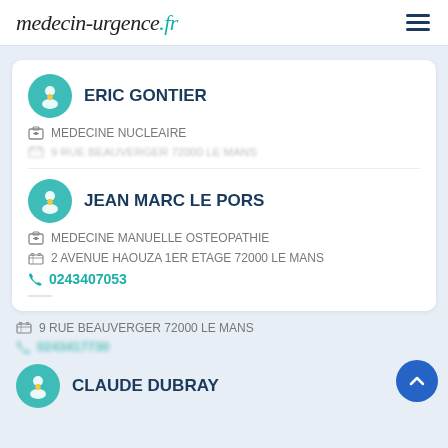medecin-urgence.fr
ERIC GONTIER — MEDECINE NUCLEAIRE — 9 RUE BEAUVERGER 72000 LE MANS (partially visible)
JEAN MARC LE PORS — MEDECINE MANUELLE OSTEOPATHIE — 2 AVENUE HAOUZA 1ER ETAGE 72000 LE MANS — 0243407053
9 RUE BEAUVERGER 72000 LE MANS (partially visible)
CLAUDE DUBRAY (partially visible)